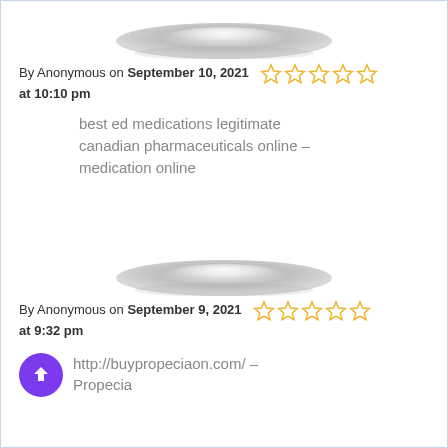[Figure (illustration): Blurred avatar ellipse placeholder for anonymous user]
By Anonymous on September 10, 2021 at 10:10 pm ☆☆☆☆☆
best ed medications legitimate canadian pharmaceuticals online – medication online
[Figure (illustration): Blurred avatar ellipse placeholder for anonymous user]
By Anonymous on September 9, 2021 at 9:32 pm ☆☆☆☆☆
http://buypropeciaon.com/ – Propecia